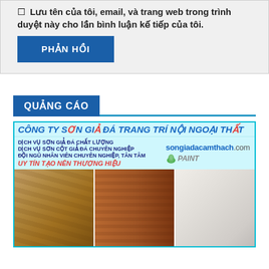Lưu tên của tôi, email, và trang web trong trình duyệt này cho lần bình luận kế tiếp của tôi.
PHẢN HỒI
QUẢNG CÁO
[Figure (photo): Advertisement banner for CÔNG TY SƠN GIẢ ĐÁ TRANG TRÍ NỘI NGOẠI THẤT with website songiadacamthach.com and Paint logo, showing interior/exterior decoration services with photos of staircases, wood panels, and bathroom fixtures.]